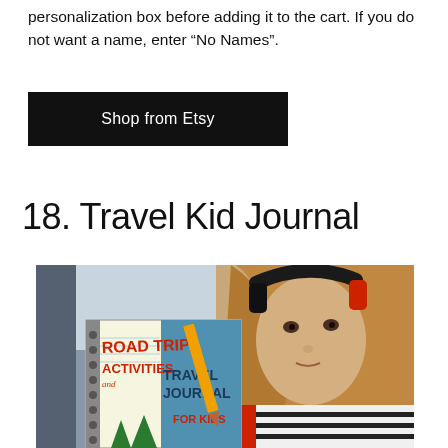personalization box before adding it to the cart. If you do not want a name, enter “No Names”.
Shop from Etsy
18. Travel Kid Journal
[Figure (photo): A young girl sitting in a car wearing black headphones, holding a book titled 'Road Trip Activities and Travel Journal for Kids']